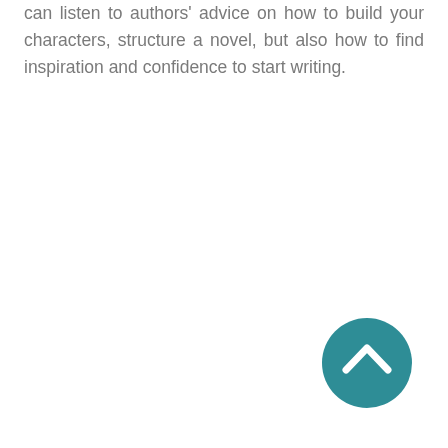can listen to authors' advice on how to build your characters, structure a novel, but also how to find inspiration and confidence to start writing.
[Figure (other): A teal circular button with a white upward-pointing chevron/arrow icon, positioned in the lower-right area of the page.]